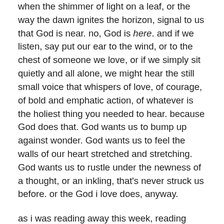tion, or the lookout for those barely perceptible moments when the shimmer of light on a leaf, or the way the dawn ignites the horizon, signal to us that God is near. no, God is here. and if we listen, say put our ear to the wind, or to the chest of someone we love, or if we simply sit quietly and all alone, we might hear the still small voice that whispers of love, of courage, of bold and emphatic action, of whatever is the holiest thing you needed to hear. because God does that. God wants us to bump up against wonder. God wants us to feel the walls of our heart stretched and stretching. God wants us to rustle under the newness of a thought, or an inkling, that's never struck us before. or the God i love does, anyway.
as i was reading away this week, reading mary oliver's newest book, a collection of essays titled, “upstream: selected essays,” as i was reading lines like this one — “I